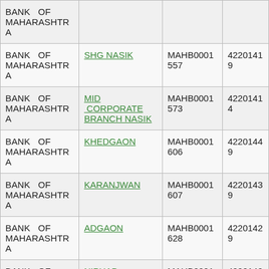| Bank | Branch | IFSC | MICR |
| --- | --- | --- | --- |
| BANK OF MAHARASHTRA |  |  |  |
| BANK OF MAHARASHTRA | SHG NASIK | MAHB0001557 | 42201419 |
| BANK OF MAHARASHTRA | MID CORPORATE BRANCH NASIK | MAHB0001573 | 42201414 |
| BANK OF MAHARASHTRA | KHEDGAON | MAHB0001606 | 42201449 |
| BANK OF MAHARASHTRA | KARANJWAN | MAHB0001607 | 42201439 |
| BANK OF MAHARASHTRA | ADGAON | MAHB0001628 | 42201429 |
| BANK OF MAHARASHTRA | NIPHAD | MAHB0001649 | 42201400 |
| BANK OF MAHARASHTRA | TRIMBAKESHWAR | MAHB0001679 | 42201479 |